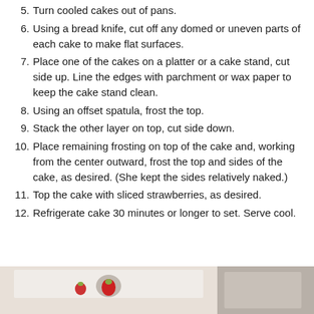5. Turn cooled cakes out of pans.
6. Using a bread knife, cut off any domed or uneven parts of each cake to make flat surfaces.
7. Place one of the cakes on a platter or a cake stand, cut side up. Line the edges with parchment or wax paper to keep the cake stand clean.
8. Using an offset spatula, frost the top.
9. Stack the other layer on top, cut side down.
10. Place remaining frosting on top of the cake and, working from the center outward, frost the top and sides of the cake, as desired. (She kept the sides relatively naked.)
11. Top the cake with sliced strawberries, as desired.
12. Refrigerate cake 30 minutes or longer to set. Serve cool.
[Figure (photo): Partial photo of a decorated cake with strawberries visible at the bottom of the page.]